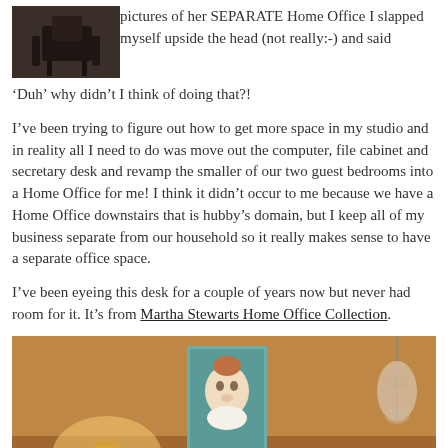[Figure (photo): Small dark photo of a home office area with a chair and furniture visible]
pictures of her SEPARATE Home Office I slapped myself upside the head (not really:-) and said ‘Duh’ why didn’t I think of doing that?!
I’ve been trying to figure out how to get more space in my studio and in reality all I need to do was move out the computer, file cabinet and secretary desk and revamp the smaller of our two guest bedrooms into a Home Office for me! I think it didn’t occur to me because we have a Home Office downstairs that is hubby’s domain, but I keep all of my business separate from our household so it really makes sense to have a separate office space.
I’ve been eyeing this desk for a couple of years now but never had room for it. It’s from Martha Stewarts Home Office Collection.
[Figure (photo): Warm-toned bedroom interior with a painting of a face/clown on the wall, a lamp, and hanging decorations]